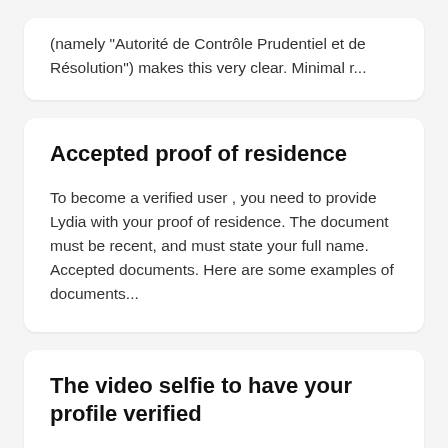(namely "Autorité de Contrôle Prudentiel et de Résolution") makes this very clear. Minimal r...
Accepted proof of residence
To become a verified user , you need to provide Lydia with your proof of residence. The document must be recent, and must state your full name. Accepted documents. Here are some examples of documents...
The video selfie to have your profile verified